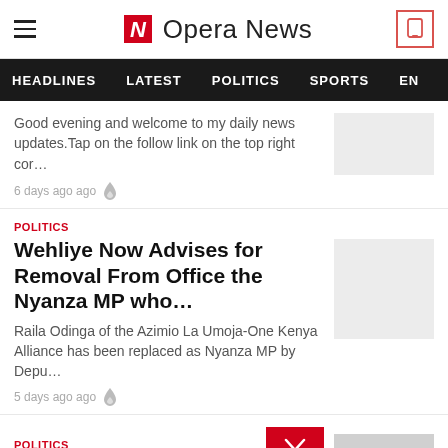Opera News
HEADLINES  LATEST  POLITICS  SPORTS  EN
Good evening and welcome to my daily news updates.Tap on the follow link on the top right cor…
6 days ago ago
POLITICS
Wehliye Now Advises for Removal From Office the Nyanza MP who…
Raila Odinga of the Azimio La Umoja-One Kenya Alliance has been replaced as Nyanza MP by Depu…
5 days ago ago
POLITICS